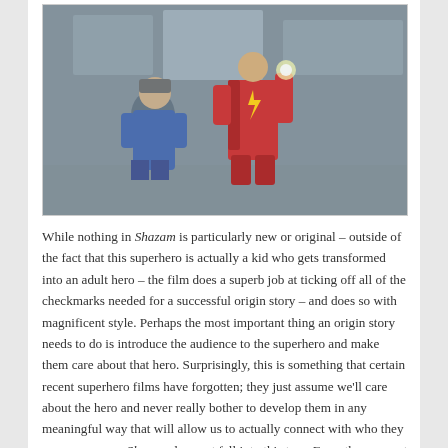[Figure (photo): A still from the movie Shazam showing two characters in what appears to be a dimly lit industrial setting. One character is seated wearing a blue jacket and knit cap, while another character in a red and gold superhero costume stands nearby.]
While nothing in Shazam is particularly new or original – outside of the fact that this superhero is actually a kid who gets transformed into an adult hero – the film does a superb job at ticking off all of the checkmarks needed for a successful origin story – and does so with magnificent style. Perhaps the most important thing an origin story needs to do is introduce the audience to the superhero and make them care about that hero. Surprisingly, this is something that certain recent superhero films have forgotten; they just assume we'll care about the hero and never really bother to develop them in any meaningful way that will allow us to actually connect with who they are as a person. Shazam does not fall into this trap. From the moment we meet Billy Batson, we're drawn into his